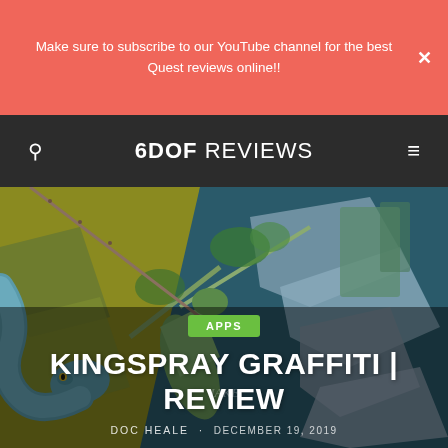Make sure to subscribe to our YouTube channel for the best Quest reviews online!!
6DOF REVIEWS
[Figure (illustration): Stylized graffiti art illustration featuring a blue snake, praying mantis, and colorful abstract geometric shapes in teal, olive, yellow and grey tones — hero image background for Kingspray Graffiti review article]
APPS
KINGSPRAY GRAFFITI | REVIEW
DOC HEALE  ·  DECEMBER 19, 2019